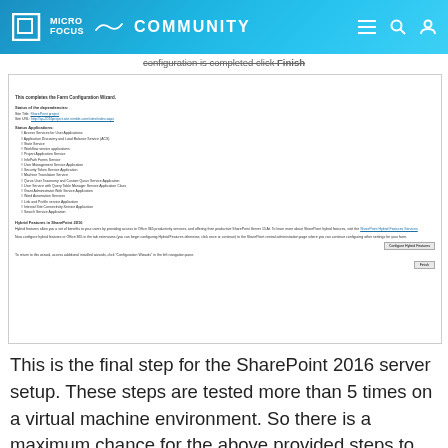MICRO FOCUS COMMUNITY
configuration is completed click Finish
[Figure (screenshot): Screenshot of SharePoint Farm Configuration Wizard completion screen showing list of configured services and Hybrid features in SharePoint 2016 section with Configure Hybrid Features and Finish buttons]
This is the final step for the SharePoint 2016 server setup. These steps are tested more than 5 times on a virtual machine environment. So there is a maximum chance for the above provided steps to work on your environment. Also some of the troubleshooting steps are mentioned in the article which will help you to handle the problem.